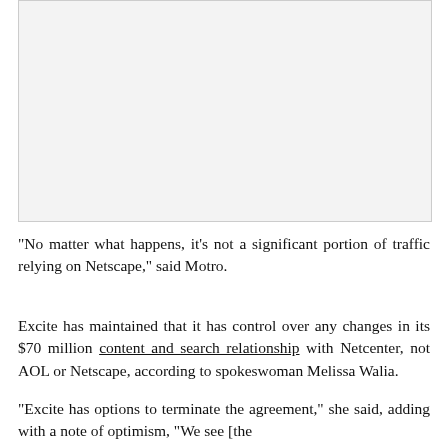[Figure (other): Blank light gray rectangular image placeholder at the top of the page]
"No matter what happens, it's not a significant portion of traffic relying on Netscape," said Motro.
Excite has maintained that it has control over any changes in its $70 million content and search relationship with Netcenter, not AOL or Netscape, according to spokeswoman Melissa Walia.
"Excite has options to terminate the agreement," she said, adding with a note of optimism, "We see [the